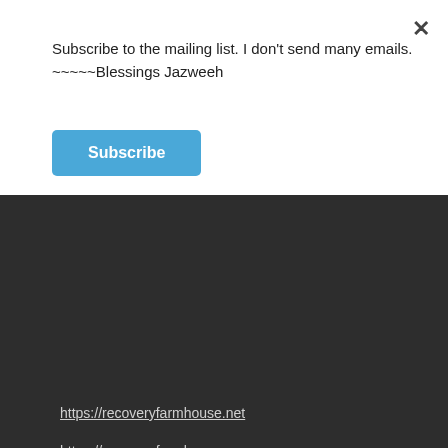Subscribe to the mailing list. I don't send many emails.
~~~~~Blessings Jazweeh
Subscribe
×
https://recoveryfarmhouse.net
https://recoveryfarmhouse.com
https://jazweeh.com
https://theatreofthegods.com
https://abominationdesolation.com
https://fatherswords.com